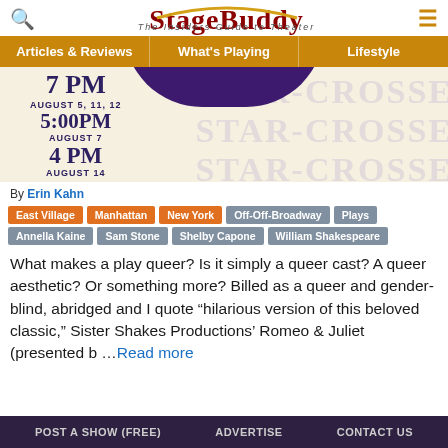StageBuddy — The Insiders Guide to Theater
[Figure (screenshot): Navigation bar with Articles & Reviews, What's Playing, Lifestyle]
[Figure (photo): Show promotional image with times: 7 PM August 5, 11, 12; 5:00PM August 7; 4 PM August 14. Background shows star-crossed text watermark.]
By Erin Kahn
East Village
Manhattan
New York
Off-Off-Broadway
Plays
Annella Kaine
Sam Stone
Shelby Capone
William Shakespeare
What makes a play queer? Is it simply a queer cast? A queer aesthetic? Or something more? Billed as a queer and gender-blind, abridged and I quote “hilarious version of this beloved classic,” Sister Shakes Productions’ Romeo & Juliet (presented b …Read more
POST A SHOW (FREE)    ADVERTISE    CONTACT US